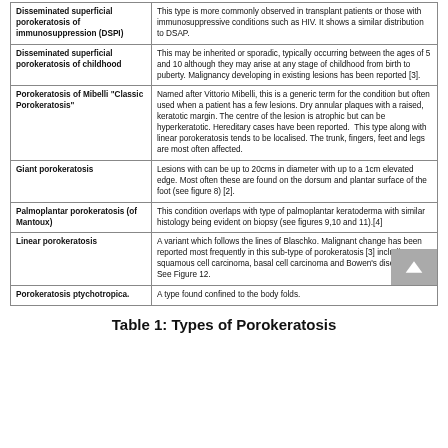| Type | Description |
| --- | --- |
| Disseminated superficial porokeratosis of immunosuppression (DSPI) | This type is more commonly observed in transplant patients or those with immunosuppressive conditions such as HIV. It shows a similar distribution to DSAP. |
| Disseminated superficial porokeratosis of childhood | This may be inherited or sporadic, typically occurring between the ages of 5 and 10 although they may arise at any stage of childhood from birth to puberty. Malignancy developing in existing lesions has been reported [3]. |
| Porokeratosis of Mibelli "Classic Porokeratosis" | Named after Vittorio Mibelli, this is a generic term for the condition but often used when a patient has a few lesions. Dry annular plaques with a raised, keratotic margin. The centre of the lesion is atrophic but can be hyperkeratotic. Hereditary cases have been reported. This type along with linear porokeratosis tends to be localised. The trunk, fingers, feet and legs are most often affected. |
| Giant porokeratosis | Lesions with can be up to 20cms in diameter with up to a 1cm elevated edge. Most often these are found on the dorsum and plantar surface of the foot (see figure 8) [2]. |
| Palmoplantar porokeratosis (of Mantoux) | This condition overlaps with type of palmoplantar keratoderma with similar histology being evident on biopsy (see figures 9,10 and 11).[4] |
| Linear porokeratosis | A variant which follows the lines of Blaschko. Malignant change has been reported most frequently in this sub-type of porokeratosis [3] including squamous cell carcinoma, basal cell carcinoma and Bowen's disease [5]. See Figure 12. |
| Porokeratosis ptychotropica. | A type found confined to the body folds. |
Table 1: Types of Porokeratosis